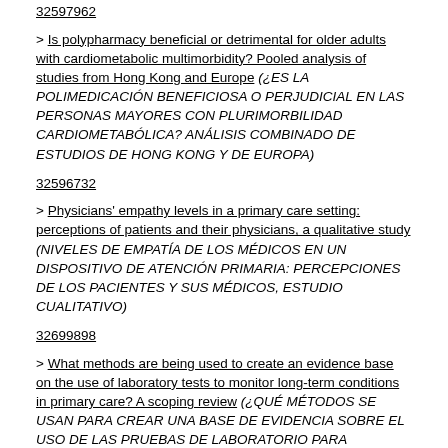32597962
> Is polypharmacy beneficial or detrimental for older adults with cardiometabolic multimorbidity? Pooled analysis of studies from Hong Kong and Europe (¿ES LA POLIMEDICACIÓN BENEFICIOSA O PERJUDICIAL EN LAS PERSONAS MAYORES CON PLURIMORBILIDAD CARDIOMETABÓLICA? ANÁLISIS COMBINADO DE ESTUDIOS DE HONG KONG Y DE EUROPA)
32596732
> Physicians' empathy levels in a primary care setting: perceptions of patients and their physicians, a qualitative study (NIVELES DE EMPATÍA DE LOS MÉDICOS EN UN DISPOSITIVO DE ATENCIÓN PRIMARIA: PERCEPCIONES DE LOS PACIENTES Y SUS MÉDICOS, ESTUDIO CUALITATIVO)
32699898
> What methods are being used to create an evidence base on the use of laboratory tests to monitor long-term conditions in primary care? A scoping review (¿QUÉ MÉTODOS SE USAN PARA CREAR UNA BASE DE EVIDENCIA SOBRE EL USO DE LAS PRUEBAS DE LABORATORIO PARA